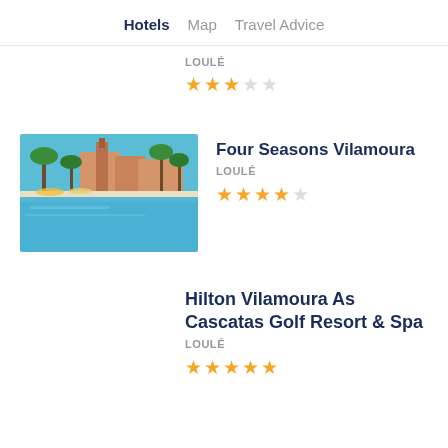Hotels   Map   Travel Advice
LOULÉ
★★★☆☆ (3 out of 5 stars)
Four Seasons Vilamoura
LOULÉ
★★★★☆ (4 out of 5 stars)
[Figure (photo): Pool area with palm trees and resort buildings at Four Seasons Vilamoura]
Hilton Vilamoura As Cascatas Golf Resort & Spa
LOULÉ
★★★★★ (5 out of 5 stars)